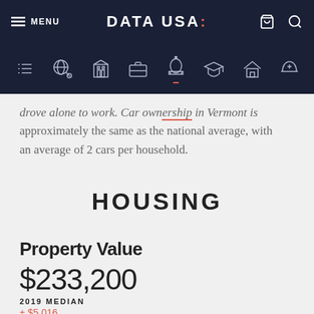MENU | DATA USA: (navigation bar with icons)
drove alone to work. Car ownership in Vermont is approximately the same as the national average, with an average of 2 cars per household.
HOUSING
Property Value
$233,200
2019 MEDIAN
± $5,016